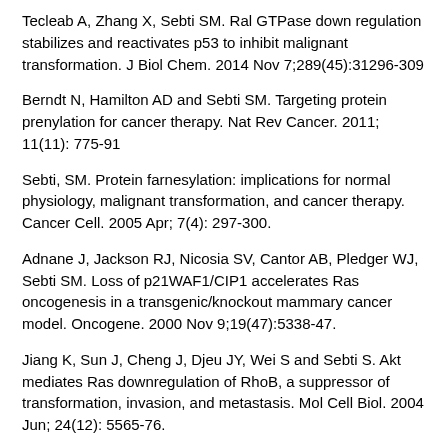Tecleab A, Zhang X, Sebti SM. Ral GTPase down regulation stabilizes and reactivates p53 to inhibit malignant transformation. J Biol Chem. 2014 Nov 7;289(45):31296-309
Berndt N, Hamilton AD and Sebti SM. Targeting protein prenylation for cancer therapy. Nat Rev Cancer. 2011; 11(11): 775-91
Sebti, SM. Protein farnesylation: implications for normal physiology, malignant transformation, and cancer therapy. Cancer Cell. 2005 Apr; 7(4): 297-300.
Adnane J, Jackson RJ, Nicosia SV, Cantor AB, Pledger WJ, Sebti SM. Loss of p21WAF1/CIP1 accelerates Ras oncogenesis in a transgenic/knockout mammary cancer model. Oncogene. 2000 Nov 9;19(47):5338-47.
Jiang K, Sun J, Cheng J, Djeu JY, Wei S and Sebti S. Akt mediates Ras downregulation of RhoB, a suppressor of transformation, invasion, and metastasis. Mol Cell Biol. 2004 Jun; 24(12): 5565-76.
Lerner EC, Qian Y, Blaskovich MA, Fossum RD, Vogt A, Sun J, Cox AD, Der CJ, Hamilton AD and Sebti SM. Ras CAAX peptidomimetic FTI-277 selectively blocks oncogenic Ras signaling by inducing cytoplasmicaccumulation of inactive Ras-Raf complexes. J Biol…